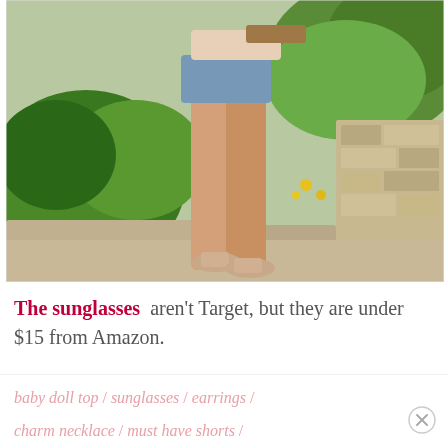[Figure (photo): Outdoor photo showing the lower body of a person wearing denim cutoff shorts, a light pink/beige top, and beige strappy sandals. They are standing on a concrete path with lush green garden plants on the left and a stone wall/hedge on the right. A designer bag is visible at the top.]
The sunglasses aren't Target, but they are under $15 from Amazon.
baby doll top / sunglasses / earrings / charm necklace / must have shorts /